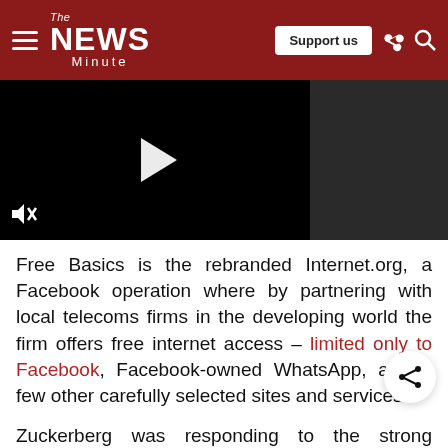The NEWS Minute | Support us
[Figure (screenshot): Embedded video player with black background, white play button triangle, and mute icon in bottom left. Right side shows dark grey panel.]
Free Basics is the rebranded Internet.org, a Facebook operation where by partnering with local telecoms firms in the developing world the firm offers free internet access – limited only to Facebook, Facebook-owned WhatsApp, and a few other carefully selected sites and services.
Zuckerberg was responding to the strong backlash that Free Basics has faced in India, where the